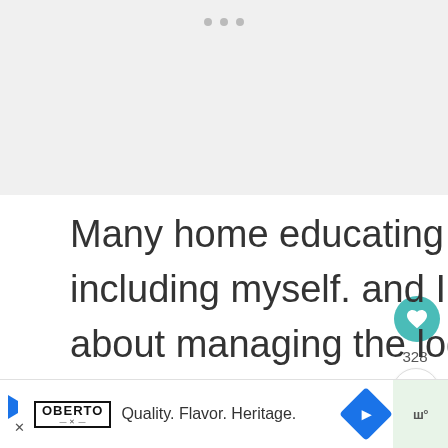[Figure (other): Gray placeholder image area at top of page with three small dot indicators]
Many home educating parents work from home, including myself. and I have written a blog post about managing the logistics working from home as a single
[Figure (other): Social media UI overlay showing heart/like button with 328 likes, share button, What's Next panel with Harry Potter printables thumbnail, and bottom advertisement bar for Oberto beef jerky reading 'Quality. Flavor. Heritage.']